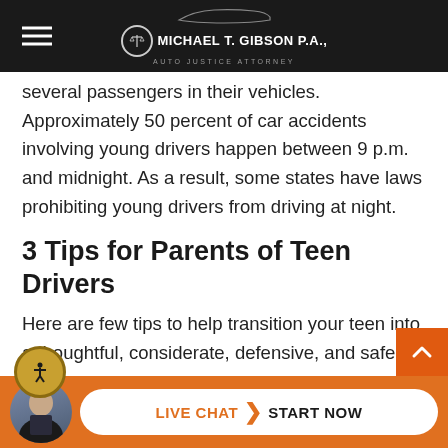Michael T. Gibson P.A. Auto Justice Attorney
several passengers in their vehicles. Approximately 50 percent of car accidents involving young drivers happen between 9 p.m. and midnight. As a result, some states have laws prohibiting young drivers from driving at night.
3 Tips for Parents of Teen Drivers
Here are few tips to help transition your teen into a thoughtful, considerate, defensive, and safe driver:
Let them drive with you as frequently as
LIVE CHAT START NOW